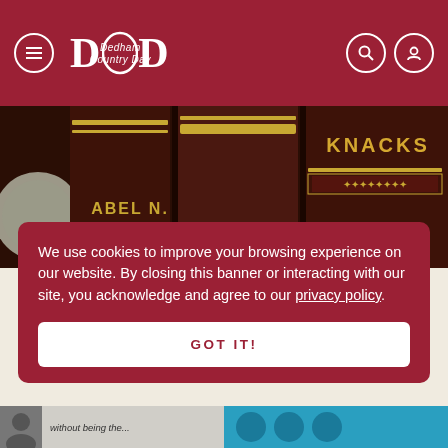DCD — Dedham Country Day (navigation header with menu, search, and user icons)
[Figure (photo): Close-up photo of dark leather-bound book spines with gold lettering reading 'KNACKS', 'ABEL N.', 'WILLING', 'PADDY', with partial view of a coin on the left]
We use cookies to improve your browsing experience on our website. By closing this banner or interacting with our site, you acknowledge and agree to our privacy policy.
GOT IT!
[Figure (photo): Bottom strip showing partial thumbnail images — left side grey with text 'without being the...' and a person, right side teal/blue with circular social media icons]